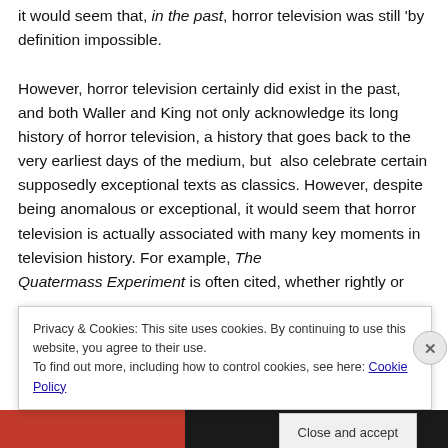it would seem that, in the past, horror television was still 'by definition impossible.
However, horror television certainly did exist in the past, and both Waller and King not only acknowledge its long history of horror television, a history that goes back to the very earliest days of the medium, but  also celebrate certain supposedly exceptional texts as classics. However, despite being anomalous or exceptional, it would seem that horror television is actually associated with many key moments in television history. For example, The Quatermass Experiment is often cited, whether rightly or
Privacy & Cookies: This site uses cookies. By continuing to use this website, you agree to their use.
To find out more, including how to control cookies, see here: Cookie Policy